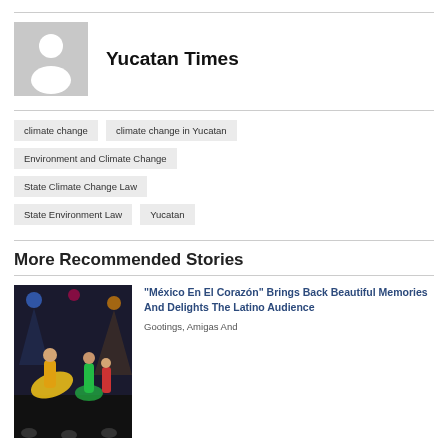[Figure (illustration): Generic user avatar placeholder — grey background with white silhouette of a person (head circle and shoulders)]
Yucatan Times
climate change
climate change in Yucatan
Environment and Climate Change
State Climate Change Law
State Environment Law
Yucatan
More Recommended Stories
[Figure (photo): Colorful folk dancers performing on a stage with dramatic lighting — México En El Corazón show]
“México En El Corazón” Brings Back Beautiful Memories And Delights The Latino Audience
Gootings, Amigas And